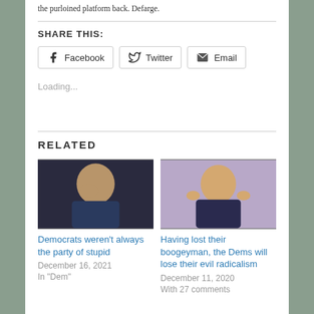the purloined platform back. Defarge.
SHARE THIS:
Facebook  Twitter  Email
Loading...
RELATED
[Figure (photo): Photo of Joe Biden with hand on face]
Democrats weren't always the party of stupid
December 16, 2021
In "Dem"
[Figure (photo): Photo of Donald Trump with hands raised]
Having lost their boogeyman, the Dems will lose their evil radicalism
December 11, 2020
With 27 comments